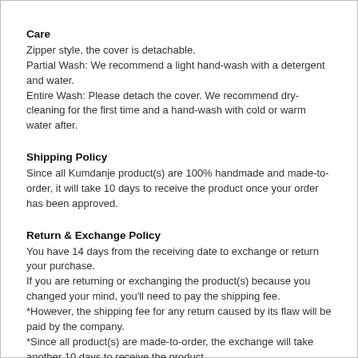Care
Zipper style, the cover is detachable.
Partial Wash: We recommend a light hand-wash with a detergent and water.
Entire Wash: Please detach the cover. We recommend dry-cleaning for the first time and a hand-wash with cold or warm water after.
Shipping Policy
Since all Kumdanje product(s) are 100% handmade and made-to-order, it will take 10 days to receive the product once your order has been approved.
Return & Exchange Policy
You have 14 days from the receiving date to exchange or return your purchase.
If you are returning or exchanging the product(s) because you changed your mind, you'll need to pay the shipping fee.
*However, the shipping fee for any return caused by its flaw will be paid by the company.
*Since all product(s) are made-to-order, the exchange will take another 10 days to receive the product.
*Please note that THAT the info for the disclaimer goes here and continues...